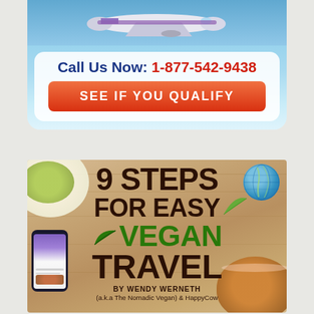[Figure (infographic): Travel advertisement banner with airplane in sky background, white rounded box with call to action text 'Call Us Now: 1-877-542-9438' and orange button 'SEE IF YOU QUALIFY']
[Figure (illustration): Book cover for '9 STEPS FOR EASY VEGAN TRAVEL by Wendy Werneth (a.k.a The Nomadic Vegan) & HappyCow' with wood table background, food bowls, globe, and phone]